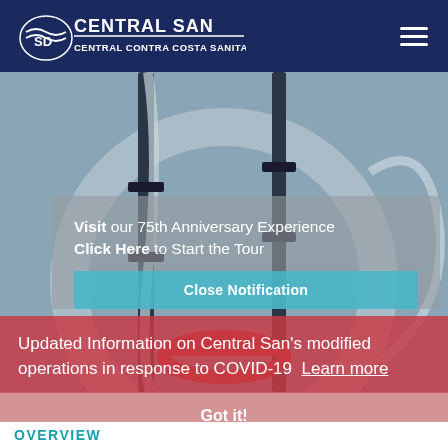Central San – Central Contra Costa Sanitary District
[Figure (photo): Water/sanitation equipment – metal pipes and hoses with red carabiner clip, shown as website hero image background]
Visit our 75th Anniversary Experience Click Here to Start the Tour
Close Notification
Updated Information on Central San's modified operations in response to COVID-19  Learn more
Got it!
OVERVIEW